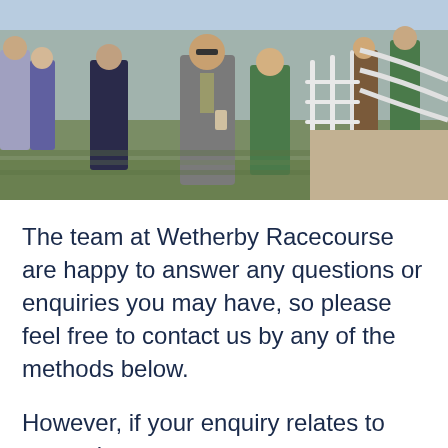[Figure (photo): Outdoor photo at Wetherby Racecourse showing several people gathered near white railings on a sunny day. A man in a grey blazer and sunglasses is prominent in the centre, with green grass and gravelled areas visible.]
The team at Wetherby Racecourse are happy to answer any questions or enquiries you may have, so please feel free to contact us by any of the methods below.
However, if your enquiry relates to general